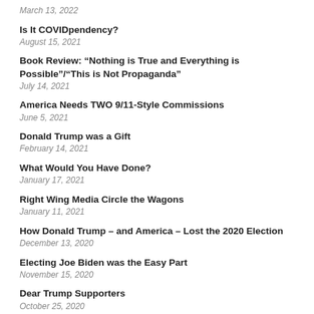March 13, 2022
Is It COVIDpendency?
August 15, 2021
Book Review: “Nothing is True and Everything is Possible”/“This is Not Propaganda”
July 14, 2021
America Needs TWO 9/11-Style Commissions
June 5, 2021
Donald Trump was a Gift
February 14, 2021
What Would You Have Done?
January 17, 2021
Right Wing Media Circle the Wagons
January 11, 2021
How Donald Trump – and America – Lost the 2020 Election
December 13, 2020
Electing Joe Biden was the Easy Part
November 15, 2020
Dear Trump Supporters
October 25, 2020